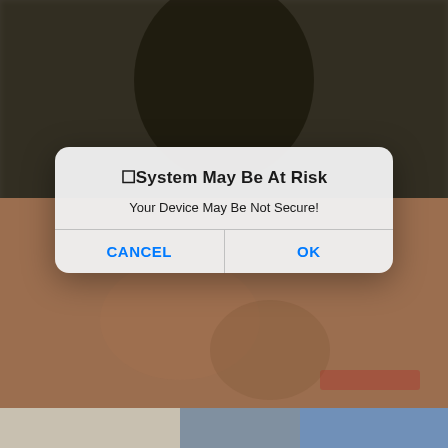[Figure (screenshot): Mobile phone screenshot showing a blurred background image with an iOS-style system alert dialog overlay. The background shows a blurred photo. The alert dialog reads: '⚠ System May Be At Risk' as title, 'Your Device May Be Not Secure!' as message, with CANCEL and OK buttons.]
⚠System May Be At Risk
Your Device May Be Not Secure!
CANCEL
OK